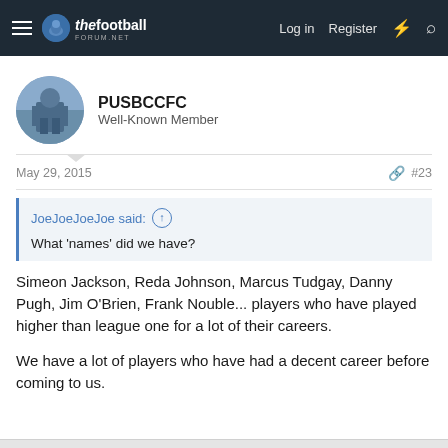thefootballforum.net — Log in  Register
PUSBCCFC
Well-Known Member
May 29, 2015  #23
JoeJoeJoeJoe said: ↑
What 'names' did we have?
Simeon Jackson, Reda Johnson, Marcus Tudgay, Danny Pugh, Jim O'Brien, Frank Nouble... players who have played higher than league one for a lot of their careers.

We have a lot of players who have had a decent career before coming to us.